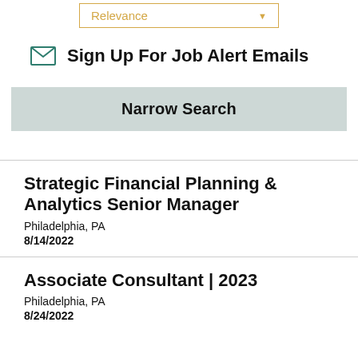[Figure (other): Dropdown box with gold/amber border showing 'Relevance' text and dropdown arrow]
Sign Up For Job Alert Emails
Narrow Search
Strategic Financial Planning & Analytics Senior Manager
Philadelphia, PA
8/14/2022
Associate Consultant | 2023
Philadelphia, PA
8/24/2022